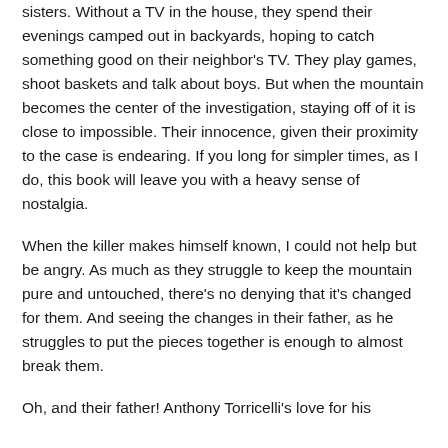sisters. Without a TV in the house, they spend their evenings camped out in backyards, hoping to catch something good on their neighbor's TV. They play games, shoot baskets and talk about boys. But when the mountain becomes the center of the investigation, staying off of it is close to impossible. Their innocence, given their proximity to the case is endearing. If you long for simpler times, as I do, this book will leave you with a heavy sense of nostalgia.
When the killer makes himself known, I could not help but be angry. As much as they struggle to keep the mountain pure and untouched, there's no denying that it's changed for them. And seeing the changes in their father, as he struggles to put the pieces together is enough to almost break them.
Oh, and their father! Anthony Torricelli's love for his